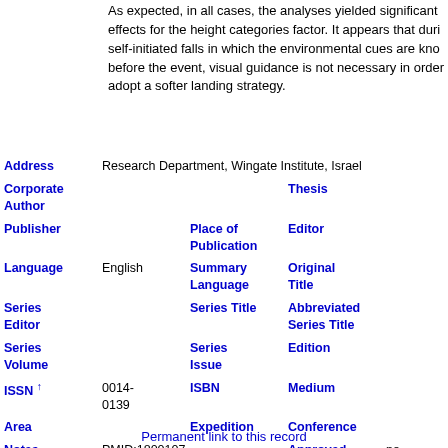As expected, in all cases, the analyses yielded significant effects for the height categories factor. It appears that during self-initiated falls in which the environmental cues are known before the event, visual guidance is not necessary in order to adopt a softer landing strategy.
| Address | Research Department, Wingate Institute, Israel |  | Thesis |  |
| Corporate Author |  |  | Thesis |  |
| Publisher |  | Place of Publication |  | Editor |  |
| Language | English | Summary Language |  | Original Title |  |
| Series Editor |  | Series Title |  | Abbreviated Series Title |  |
| Series Volume |  | Series Issue |  | Edition |  |
| ISSN ↑ | 0014-0139 | ISBN |  | Medium |  |
| Area |  | Expedition |  | Conference |  |
| Notes | PMID:1800107 |  | Approved | no |
| Call Number |  |  | Serial | 55 |
Permanent link to this record